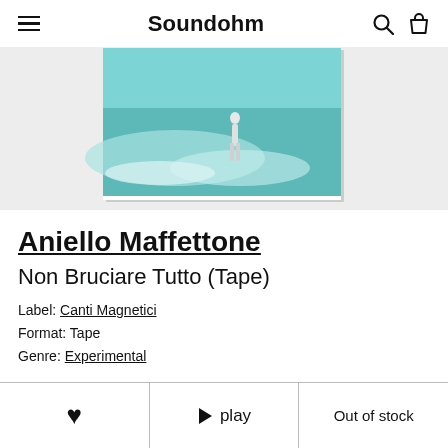Soundohm
[Figure (photo): Album cover photo showing a person standing in shallow ocean water, with teal/blue water and a white border. The image sits on a white surface with a slight shadow.]
Aniello Maffettone
Non Bruciare Tutto (Tape)
Label: Canti Magnetici
Format: Tape
Genre: Experimental
♥   ▶ play   Out of stock